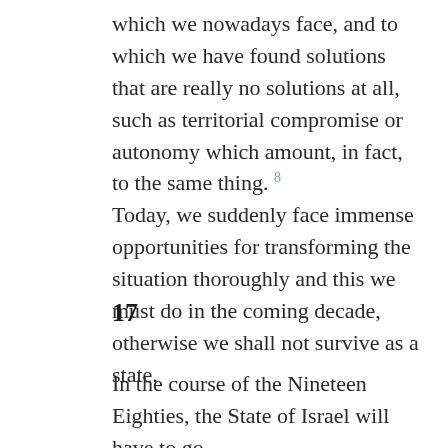which we nowadays face, and to which we have found solutions that are really no solutions at all, such as territorial compromise or autonomy which amount, in fact, to the same thing. 8 Today, we suddenly face immense opportunities for transforming the situation thoroughly and this we must do in the coming decade, otherwise we shall not survive as a state.
17
In the course of the Nineteen Eighties, the State of Israel will have to go